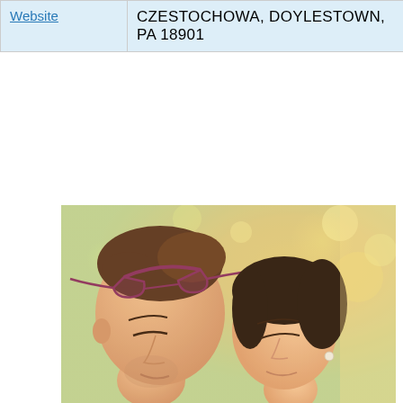| Website | CZESTOCHOWA, DOYLESTOWN, PA 18901 |
[Figure (photo): Close-up photo of a couple outdoors. A man with short brown hair and sunglasses pushed up on his head leans close to a woman with dark hair who has her eyes closed and is smiling, leaning her head against him. Warm sunny bokeh background with green trees.]